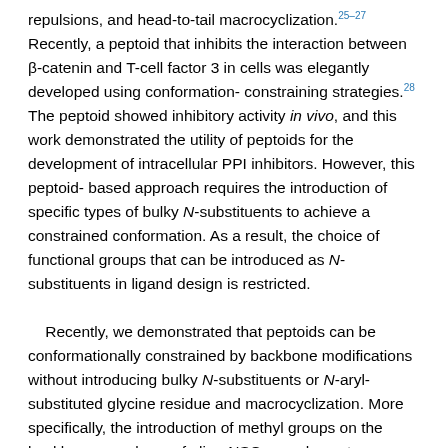repulsions, and head-to-tail macrocyclization.25–27 Recently, a peptoid that inhibits the interaction between β-catenin and T-cell factor 3 in cells was elegantly developed using conformation-constraining strategies.28 The peptoid showed inhibitory activity in vivo, and this work demonstrated the utility of peptoids for the development of intracellular PPI inhibitors. However, this peptoid-based approach requires the introduction of specific types of bulky N-substituents to achieve a constrained conformation. As a result, the choice of functional groups that can be introduced as N-substituents in ligand design is restricted.

    Recently, we demonstrated that peptoids can be conformationally constrained by backbone modifications without introducing bulky N-substituents or N-aryl-substituted glycine residue and macrocyclization. More specifically, the introduction of methyl groups on the backbone α-carbons of oligo-NSG was shown to conformationally constrain the peptoid, and the resulting oligo(N-substituted alanine) (oligo-NSA, Fig. 1a) stably formed an extended shape.29 The methyl groups on the α-carbons introduce steric